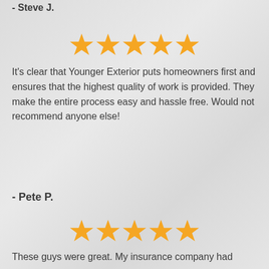- Steve J.
[Figure (other): 5 orange star rating icons]
It's clear that Younger Exterior puts homeowners first and ensures that the highest quality of work is provided. They make the entire process easy and hassle free. Would not recommend anyone else!
- Pete P.
[Figure (other): 5 orange star rating icons]
These guys were great. My insurance company had